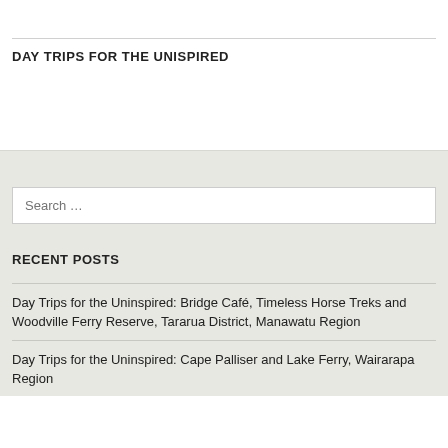DAY TRIPS FOR THE UNISPIRED
RECENT POSTS
Day Trips for the Uninspired: Bridge Café, Timeless Horse Treks and Woodville Ferry Reserve, Tararua District, Manawatu Region
Day Trips for the Uninspired: Cape Palliser and Lake Ferry, Wairarapa Region